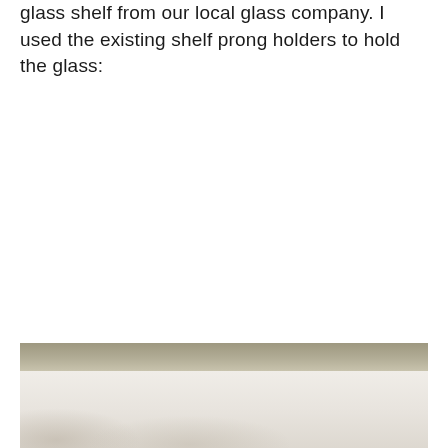glass shelf from our local glass company. I used the existing shelf prong holders to hold the glass:
[Figure (photo): A photograph showing a glass shelf with a tan/beige horizontal bar at the top (the shelf edge or metal bracket) and a translucent white/light gray glass surface below, resting on shelf prong holders.]